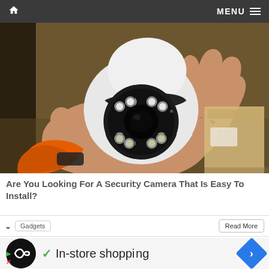Home | MENU
[Figure (photo): A hand holding a white PTZ security camera with multiple LED lights and a circular lens, photographed against a dark background with an orange sleeve visible and cardboard box in background.]
Are You Looking For A Security Camera That Is Easy To Install?
Gadgets
Read More
[Figure (infographic): Advertisement banner showing a black circular logo with infinity-like symbol, a green checkmark followed by 'In-store shopping' text, and a blue diamond-shaped arrow icon on the right. Below are small play and X icons.]